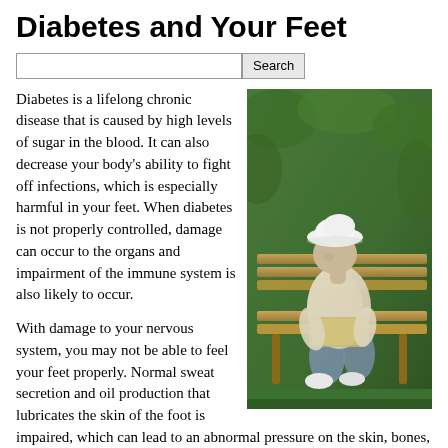Diabetes and Your Feet
Diabetes is a lifelong chronic disease that is caused by high levels of sugar in the blood. It can also decrease your body's ability to fight off infections, which is especially harmful in your feet. When diabetes is not properly controlled, damage can occur to the organs and impairment of the immune system is also likely to occur.
[Figure (photo): An elderly person wearing a white hat and light clothing, sitting hunched over on a wooden bench outdoors, surrounded by green foliage.]
With damage to your nervous system, you may not be able to feel your feet properly. Normal sweat secretion and oil production that lubricates the skin of the foot is impaired, which can lead to an abnormal pressure on the skin, bones, and joints of the foot during walking and other activities. This can even lead to the breakdown of the skin of the foot, which often causes sores to develop. If you have diabetes, it is important to prevent foot problems before they occur, recognize problems early, and seek the right treatment when a problem does